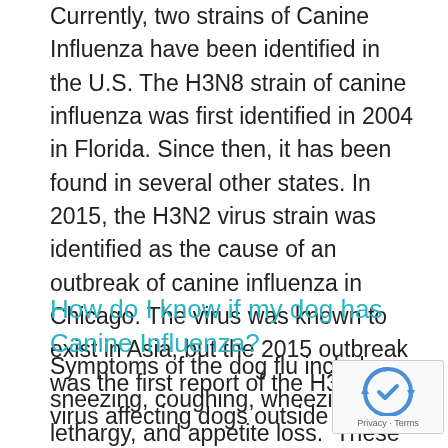Currently, two strains of Canine Influenza have been identified in the U.S. The H3N8 strain of canine influenza was first identified in 2004 in Florida. Since then, it has been found in several other states. In 2015, the H3N2 virus strain was identified as the cause of an outbreak of canine influenza in Chicago. The virus was known to exist in Asia, but the 2015 outbreak was the first report of the H3N2 virus affecting dogs outside of Asia.
How do I know if my dog has Canine Influenza?
Symptoms of the dog flu include sneezing, coughing, wheezing, lethargy, and appetite loss.  These symptoms can also be symptoms of many other illnesses. So, if your dog is showing any of these symptoms, we